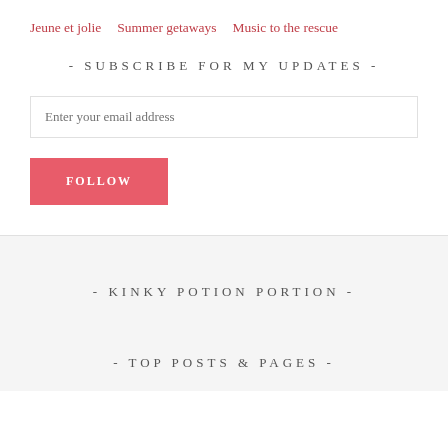Jeune et jolie   Summer getaways   Music to the rescue
- SUBSCRIBE FOR MY UPDATES -
Enter your email address
FOLLOW
- KINKY POTION PORTION -
- TOP POSTS & PAGES -